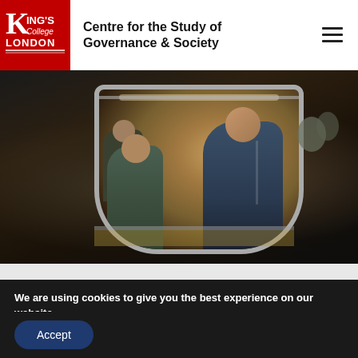King's College London — Centre for the Study of Governance & Society
[Figure (photo): Photograph of people seated on a subway/metro train car, viewed through the train window. An older man in a suit sits prominently in the foreground on the right, with other passengers visible in the background.]
We are using cookies to give you the best experience on our website.
You can find out more about which cookies we are using or switch them off in settings.
Accept